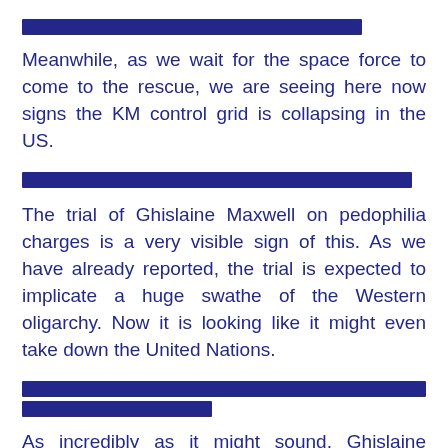[redacted line]
Meanwhile, as we wait for the space force to come to the rescue, we are seeing here now signs the KM control grid is collapsing in the US.
[redacted line]
The trial of Ghislaine Maxwell on pedophilia charges is a very visible sign of this. As we have already reported, the trial is expected to implicate a huge swathe of the Western oligarchy. Now it is looking like it might even take down the United Nations.
[redacted lines]
As incredibly as it might sound, Ghislaine Maxwell had UN [continues]